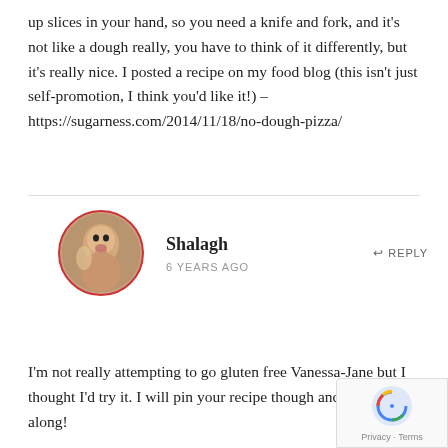up slices in your hand, so you need a knife and fork, and it's not like a dough really, you have to think of it differently, but it's really nice. I posted a recipe on my food blog (this isn't just self-promotion, I think you'd like it!) – https://sugarness.com/2014/11/18/no-dough-pizza/
Shalagh
6 YEARS AGO
REPLY
[Figure (photo): Circular avatar photo of Shalagh with red border, showing a child with mouth open and an adult in background]
I'm not really attempting to go gluten free Vanessa-Jane but I thought I'd try it. I will pin your recipe though and pass it along!